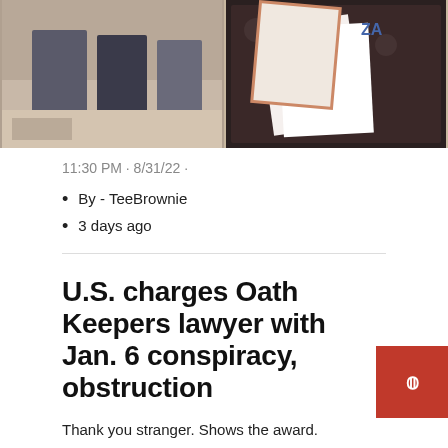[Figure (photo): Two photos side by side: left shows people standing in a formal room, right shows documents/certificates on a patterned surface]
11:30 PM · 8/31/22 ·
By - TeeBrownie
3 days ago
U.S. charges Oath Keepers lawyer with Jan. 6 conspiracy, obstruction
Thank you stranger. Shows the award.
By - SpicySeraph
3 days ago